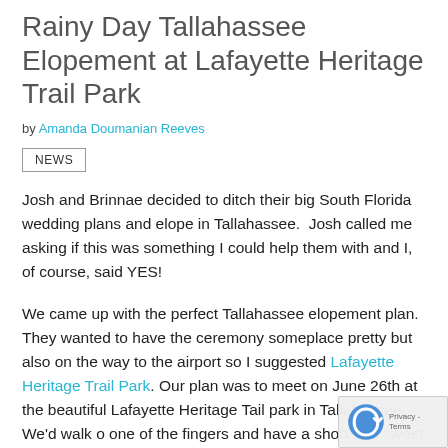Rainy Day Tallahassee Elopement at Lafayette Heritage Trail Park
by Amanda Doumanian Reeves
NEWS
Josh and Brinnae decided to ditch their big South Florida wedding plans and elope in Tallahassee. Josh called me asking if this was something I could help them with and I, of course, said YES!
We came up with the perfect Tallahassee elopement plan. They wanted to have the ceremony someplace pretty but also on the way to the airport so I suggested Lafayette Heritage Trail Park. Our plan was to meet on June 26th at the beautiful Lafayette Heritage Tail park in Tallahassee. We'd walk out one of the fingers and have a short and sweet ceremony. Then they'd take some pictures; I